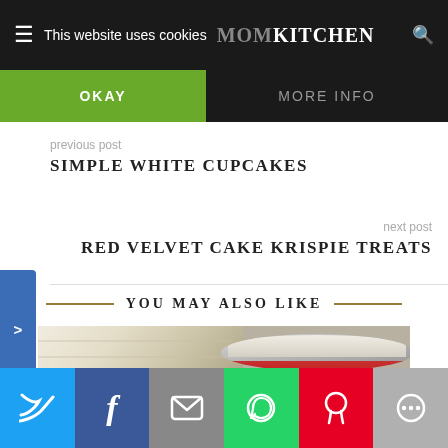This website uses cookies  MOM KITCHEN
OKAY  MORE INFO
previous post
SIMPLE WHITE CUPCAKES
next post
RED VELVET CAKE KRISPIE TREATS
YOU MAY ALSO LIKE
[Figure (photo): A food photo showing white frosted cupcake or cake with ridged frosting on the left, and a metal bowl with white frosting and red filling/sauce visible at the bottom on the right.]